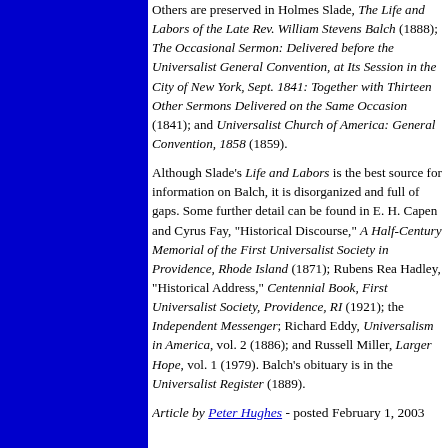Others are preserved in Holmes Slade, The Life and Labors of the Late Rev. William Stevens Balch (1888); The Occasional Sermon: Delivered before the Universalist General Convention, at Its Session in the City of New York, Sept. 1841: Together with Thirteen Other Sermons Delivered on the Same Occasion (1841); and Universalist Church of America: General Convention, 1858 (1859).
Although Slade's Life and Labors is the best source for information on Balch, it is disorganized and full of gaps. Some further detail can be found in E. H. Capen and Cyrus Fay, "Historical Discourse," A Half-Century Memorial of the First Universalist Society in Providence, Rhode Island (1871); Rubens Rea Hadley, "Historical Address," Centennial Book, First Universalist Society, Providence, RI (1921); the Independent Messenger; Richard Eddy, Universalism in America, vol. 2 (1886); and Russell Miller, Larger Hope, vol. 1 (1979). Balch's obituary is in the Universalist Register (1889).
Article by Peter Hughes - posted February 1, 2003